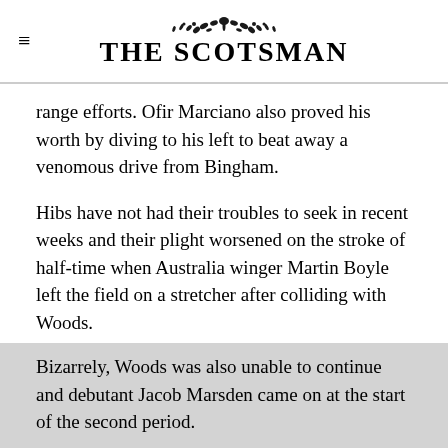THE SCOTSMAN
range efforts. Ofir Marciano also proved his worth by diving to his left to beat away a venomous drive from Bingham.
Hibs have not had their troubles to seek in recent weeks and their plight worsened on the stroke of half-time when Australia winger Martin Boyle left the field on a stretcher after colliding with Woods.
Bizarrely, Woods was also unable to continue and debutant Jacob Marsden came on at the start of the second period.